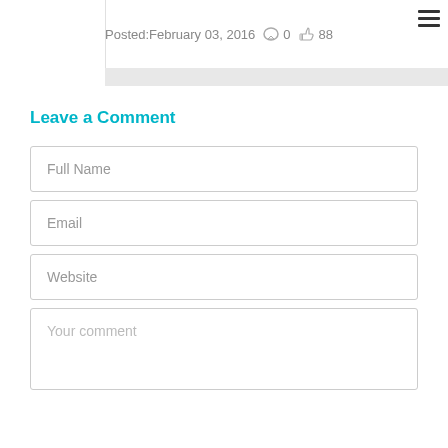Posted:February 03, 2016  0  88
Leave a Comment
Full Name
Email
Website
Your comment